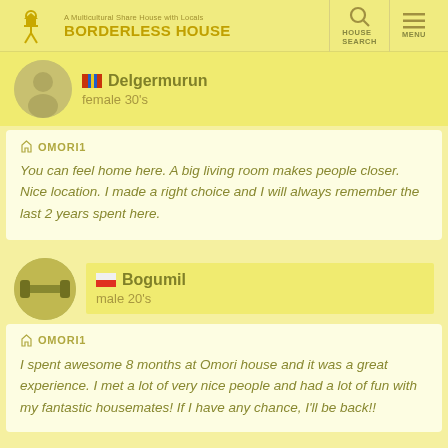BORDERLESS HOUSE - A Multicultural Share House with Locals
[Figure (photo): Avatar photo of Delgermurun, female in 30s]
Delgermurun
female 30's
OMORI1
You can feel home here. A big living room makes people closer. Nice location. I made a right choice and I will always remember the last 2 years spent here.
[Figure (photo): Avatar photo of Bogumil, male in 20s, dumbbell icon]
Bogumil
male 20's
OMORI1
I spent awesome 8 months at Omori house and it was a great experience. I met a lot of very nice people and had a lot of fun with my fantastic housemates! If I have any chance, I'll be back!!